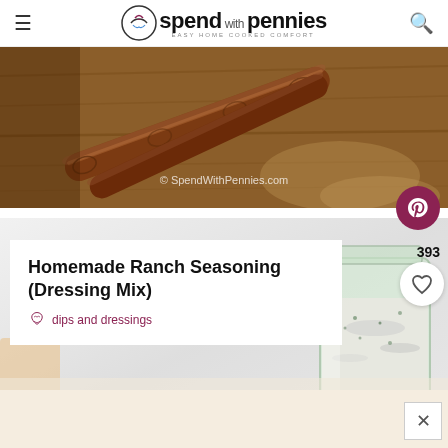spend with pennies — EASY HOME COOKED COMFORT
[Figure (photo): Close-up photo of cinnamon sticks on a wooden surface with watermark © SpendWithPennies.com]
[Figure (photo): Photo of a glass jar filled with homemade ranch seasoning/dressing mix powder]
Homemade Ranch Seasoning (Dressing Mix)
dips and dressings
393